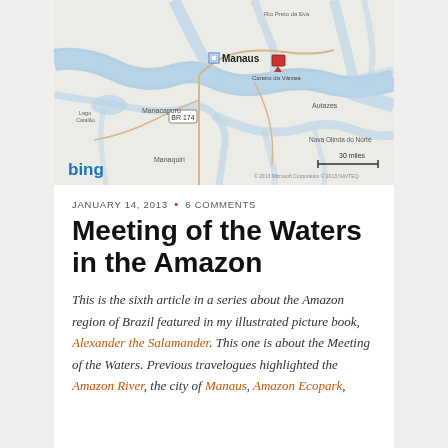[Figure (map): Bing map showing the Manaus area in the Amazon region of Brazil, with rivers, roads, and labeled cities including Manaus, Careiro da Várzea, Manacapuru, Autazes, Lago Catalão, Nova Olinda do Norte, Manaquiri, and Rio Preto da Eva. A red map pin marks a location near Careiro da Várzea. Scale bar shows 30 miles. Bing logo visible.]
JANUARY 14, 2013 • 6 COMMENTS
Meeting of the Waters in the Amazon
This is the sixth article in a series about the Amazon region of Brazil featured in my illustrated picture book, Alexander the Salamander. This one is about the Meeting of the Waters. Previous travelogues highlighted the Amazon River, the city of Manaus, Amazon Ecopark,